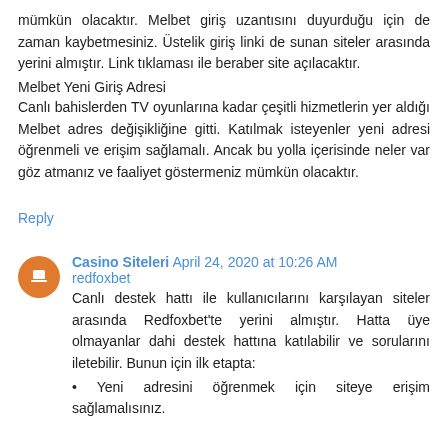mümkün olacaktır. Melbet giriş uzantısını duyurduğu için de zaman kaybetmesiniz. Üstelik giriş linki de sunan siteler arasında yerini almıştır. Link tıklaması ile beraber site açılacaktır.
Melbet Yeni Giriş Adresi
Canlı bahislerden TV oyunlarına kadar çeşitli hizmetlerin yer aldığı Melbet adres değişikliğine gitti. Katılmak isteyenler yeni adresi öğrenmeli ve erişim sağlamalı. Ancak bu yolla içerisinde neler var göz atmanız ve faaliyet göstermeniz mümkün olacaktır.
Reply
Casino Siteleri April 24, 2020 at 10:26 AM
redfoxbet
Canlı destek hattı ile kullanıcılarını karşılayan siteler arasında Redfoxbet'te yerini almıştır. Hatta üye olmayanlar dahi destek hattına katılabilir ve sorularını iletebilir. Bunun için ilk etapta:
• Yeni adresini öğrenmek için siteye erişim sağlamalısınız.